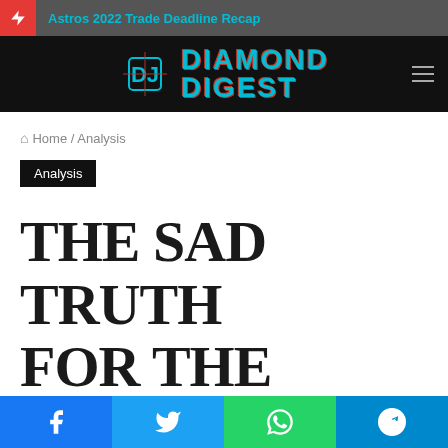Astros 2022 Trade Deadline Recap
[Figure (logo): Diamond Digest logo with icon and text in cyan/teal color on black background]
Home / Analysis
Analysis
THE SAD TRUTH FOR THE CLEVELAND
[Figure (other): Social share bar with Facebook, Twitter, WhatsApp, and Telegram buttons]